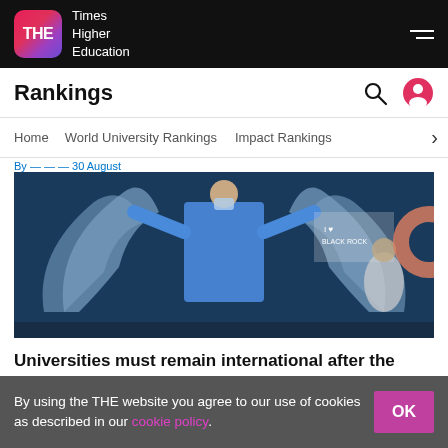THE Times Higher Education
Rankings
Home   World University Rankings   Impact Rankings
By [author] 30 August
[Figure (photo): Street mural showing a person in medical scrubs with large angel wings painted on a brick wall, with another figure visible to the right near an 'I Love Black Rock' sign.]
Universities must remain international after the pandemic 🔒
By Duncan Maskell  30 August
By using the THE website you agree to our use of cookies as described in our cookie policy.